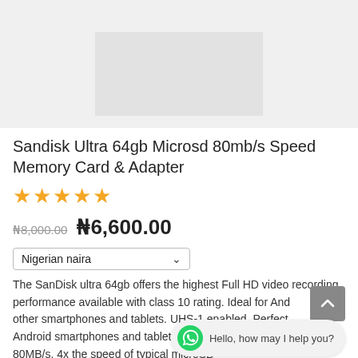[Figure (photo): Product image area showing a light gray placeholder box representing a SanDisk memory card product image]
Sandisk Ultra 64gb Microsd 80mb/s Speed Memory Card & Adapter
★★★★★
₦8,000.00  ₦6,600.00
Nigerian naira
The SanDisk ultra 64gb offers the highest Full HD video recording performance available with class 10 rating. Ideal for Android and other smartphones and tablets. UHS-1 enabled. Perfect for Android smartphones and tablets transfer speeds up to 80MB/s. 4x the speed of typical microSD